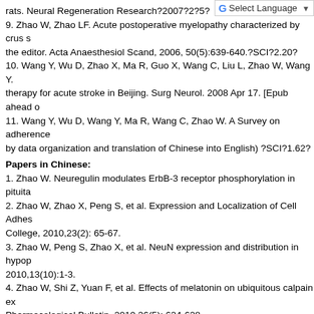rats. Neural Regeneration Research?2007?2?5?
[Figure (other): Google Translate 'Select Language' button with dropdown arrow]
9. Zhao W, Zhao LF. Acute postoperative myelopathy characterized by crus s the editor. Acta Anaesthesiol Scand, 2006, 50(5):639-640.?SCI?2.20?
10. Wang Y, Wu D, Zhao X, Ma R, Guo X, Wang C, Liu L, Zhao W, Wang Y. therapy for acute stroke in Beijing. Surg Neurol. 2008 Apr 17. [Epub ahead o
11. Wang Y, Wu D, Wang Y, Ma R, Wang C, Zhao W. A Survey on adherence by data organization and translation of Chinese into English) ?SCI?1.62?
Papers in Chinese:
1. Zhao W. Neuregulin modulates ErbB-3 receptor phosphorylation in pituita
2. Zhao W, Zhao X, Peng S, et al. Expression and Localization of Cell Adhes College, 2010,23(2): 65-67.
3. Zhao W, Peng S, Zhao X, et al. NeuN expression and distribution in hypop 2010,13(10):1-3.
4. Zhao W, Shi Z, Yuan F, et al. Effects of melatonin on ubiquitous calpain ex Pharmacological Bulletin, 2010,26(5): 624-628.
5. Zhao W. Rho kinase and cerebral vasospasm. Basic Medicine and Clinic (
6. Zhao W, Luo H. Translating biomedical terminologies: an account of difficu
7. Zhao W, Xu C. Research on the roles of caspase-3 involvement in ischem (Chin), 2002, 10(5): 391-394.
Abstracts:
1. Tong Y, Zhao W, Wawrowsky K, Melmed S. PTTG1 attenuates drug-induc Annual Meeting, 2010, 51:781.
2. Zhao W. Studies on endogenous expression of Neuregulin-1 and functions 1.
3. Zhao W, Xu C, Zhao YM. Study on the time course of Calpain activation ir